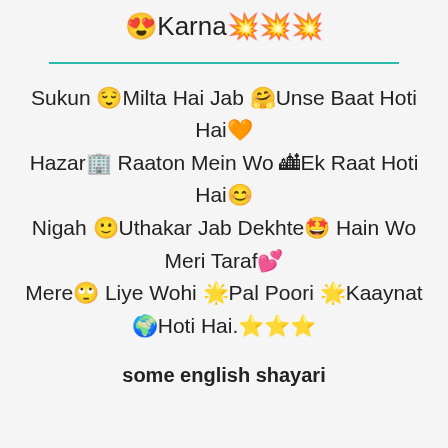😍Karna💥💥💥
Sukun 😌Milta Hai Jab 🤗Unse Baat Hoti Hai🧡
Hazar🏢 Raaton Mein Wo 🏙Ek Raat Hoti Hai😊
Nigah 🙂Uthakar Jab Dekhte🤩 Hain Wo Meri Taraf💕
Mere🙄 Liye Wohi 🌟Pal Poori 🌟Kaaynat 🌍Hoti Hai.⭐⭐⭐
some english shayari